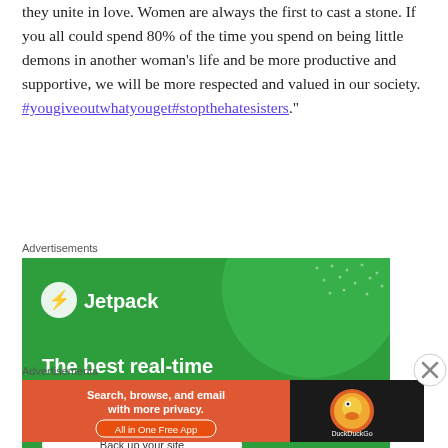they unite in love. Women are always the first to cast a stone. If you all could spend 80% of the time you spend on being little demons in another woman's life and be more productive and supportive, we will be more respected and valued in our society. #yougiveoutwhatyouget#stopthehatesisters."
Advertisements
[Figure (screenshot): Jetpack WordPress plugin advertisement. Green background with Jetpack logo and text: 'The best real-time WordPress backup plugin' and 'Back up your site']
Advertisements
[Figure (screenshot): DuckDuckGo advertisement. Orange and dark background with text: 'Search, browse, and email with more privacy. All in One Free App' and DuckDuckGo logo.]